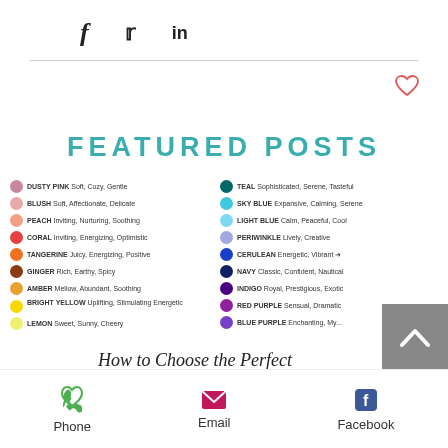f  🐦  in
[Figure (infographic): Heart/like icon in red outline]
FEATURED POSTS
DUSTY PINK Soft, Cozy, Gentle
BLUSH Soft, Affectionate, Delicate
PEACH Inviting, Nurturing, Soothing
CORAL Inviting, Energizing, Optimistic
TANGERINE Juicy, Energizing, Positive
GINGER Rich, Earthy, Spicy
AMBER Mellow, Abundant, Soothing
BRIGHT YELLOW Uplifting, Stimulating Energetic
LEMON Sweet, Sunny, Cheery
TEAL Sophisticated, Serene, Tasteful
SKY BLUE Expansive, Calming, Serene
LIGHT BLUE Calm, Peaceful, Cool
PERIWINKLE Lively, Creative
CERULEAN Energetic, Vibrant
NAVY Classic, Confident, Nautical
INDIGO Royal, Prestigious, Exotic
RED PURPLE Sensual, Dramatic
BLUE PURPLE Enchanting, Mysterious
How to Choose the Perfect
Phone  Email  Facebook